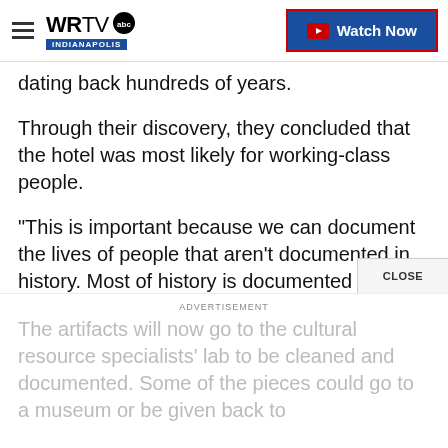WRTV INDIANAPOLIS — Watch Now
dating back hundreds of years.
Through their discovery, they concluded that the hotel was most likely for working-class people.
"This is important because we can document the lives of people that aren't documented in history. Most of history is documented by the people that are the rich merchants and whatever. So this will give us an indication of the day-to-day behavior of the people that were working that built Kansas City," Gottsfield said
The artifacts will now go to the cultural resource specialists' lab to be cleaned and documented. Some of the pieces could go to a museum or be given back to